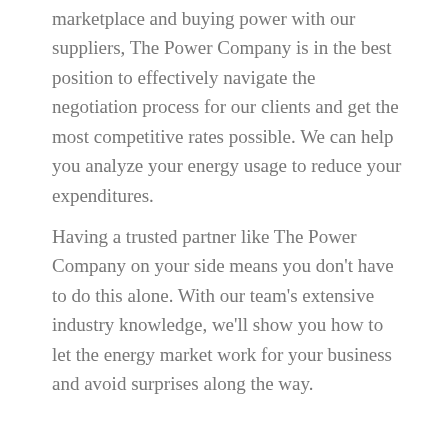marketplace and buying power with our suppliers, The Power Company is in the best position to effectively navigate the negotiation process for our clients and get the most competitive rates possible. We can help you analyze your energy usage to reduce your expenditures.
Having a trusted partner like The Power Company on your side means you don't have to do this alone. With our team's extensive industry knowledge, we'll show you how to let the energy market work for your business and avoid surprises along the way.